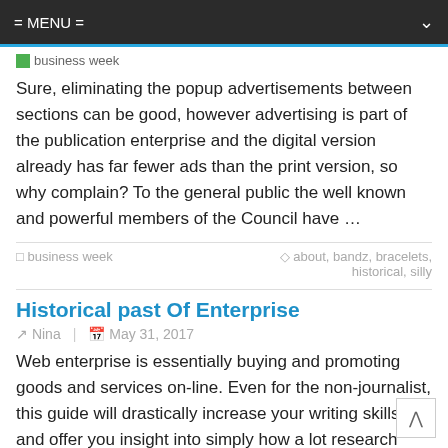= MENU =
[Figure (logo): business week logo/icon with green checkbox and text]
Sure, eliminating the popup advertisements between sections can be good, however advertising is part of the publication enterprise and the digital version already has far fewer ads than the print version, so why complain? To the general public the well known and powerful members of the Council have …
business week | about, bandz, bracelets, historical, silly
Historical past Of Enterprise
Nina | May 31, 2017
Web enterprise is essentially buying and promoting goods and services on-line. Even for the non-journalist, this guide will drastically increase your writing skills and offer you insight into simply how a lot research goes into the massive headline newspaper articles. I actually wish to bear in mind this time as I